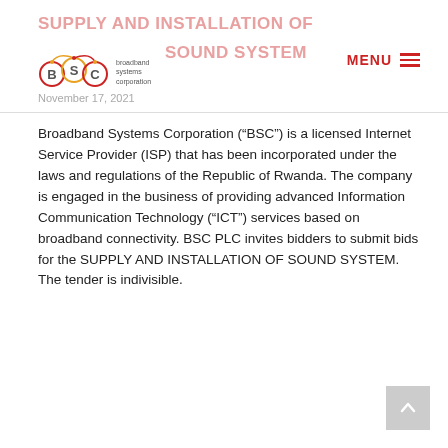SUPPLY AND INSTALLATION OF SOUND SYSTEM — November 17, 2021 — Broadband Systems Corporation logo — MENU
Broadband Systems Corporation (“BSC”) is a licensed Internet Service Provider (ISP) that has been incorporated under the laws and regulations of the Republic of Rwanda. The company is engaged in the business of providing advanced Information Communication Technology (“ICT”) services based on broadband connectivity. BSC PLC invites bidders to submit bids for the SUPPLY AND INSTALLATION OF SOUND SYSTEM. The tender is indivisible.